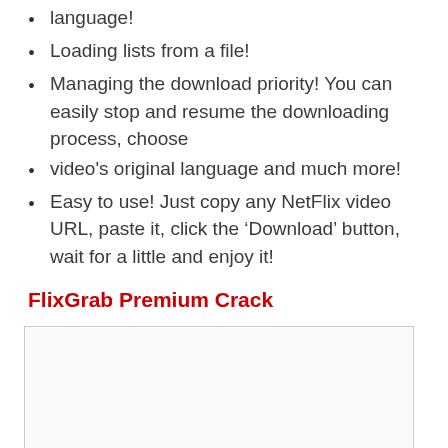language!
Loading lists from a file!
Managing the download priority! You can easily stop and resume the downloading process, choose
video's original language and much more!
Easy to use! Just copy any NetFlix video URL, paste it, click the ‘Download’ button, wait for a little and enjoy it!
FlixGrab Premium Crack
[Figure (other): White/blank image placeholder box with light gray border]